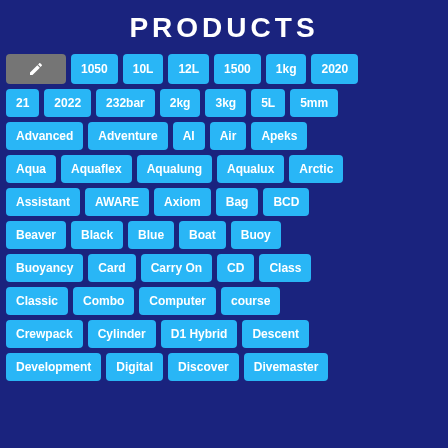PRODUCTS
1050, 10L, 12L, 1500, 1kg, 2020
21, 2022, 232bar, 2kg, 3kg, 5L, 5mm
Advanced, Adventure, AI, Air, Apeks
Aqua, Aquaflex, Aqualung, Aqualux, Arctic
Assistant, AWARE, Axiom, Bag, BCD
Beaver, Black, Blue, Boat, Buoy
Buoyancy, Card, Carry On, CD, Class
Classic, Combo, Computer, course
Crewpack, Cylinder, D1 Hybrid, Descent
Development, Digital, Discover, Divemaster